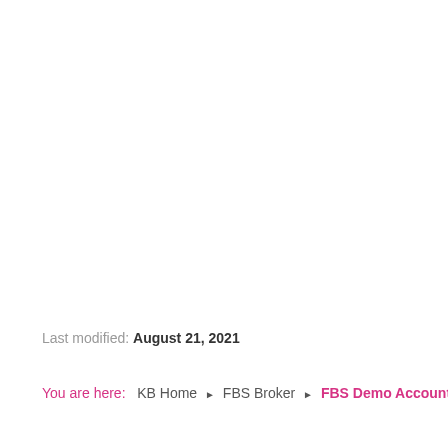Last modified: August 21, 2021
You are here:  KB Home ▶ FBS Broker ▶ FBS Demo Account